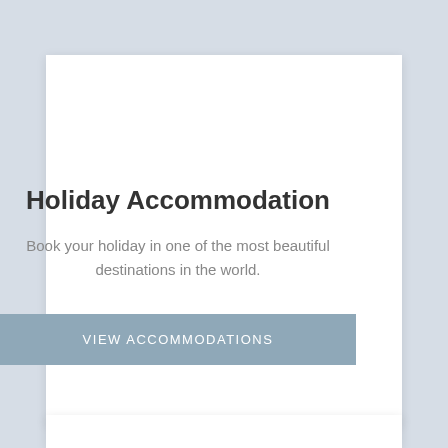Holiday Accommodation
Book your holiday in one of the most beautiful destinations in the world.
VIEW ACCOMMODATIONS